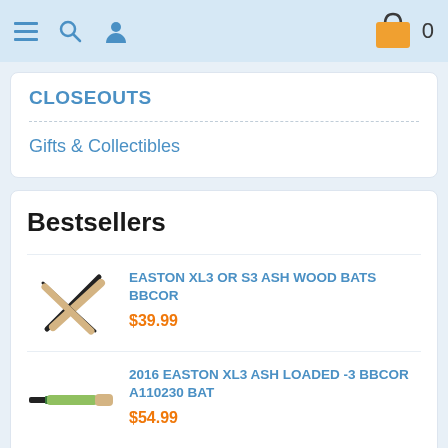Navigation bar with menu, search, user icons and cart (0 items)
CLOSEOUTS
Gifts & Collectibles
Bestsellers
[Figure (photo): Two crossed ash wood baseball bats]
EASTON XL3 OR S3 ASH WOOD BATS BBCOR
$39.99
[Figure (photo): Green and tan baseball bat - 2016 Easton XL3]
2016 EASTON XL3 ASH LOADED -3 BBCOR A110230 BAT
$54.99
[Figure (photo): Green and tan baseball bat - Easton Mako Maple]
EASTON MAKO MAPLE XL -3